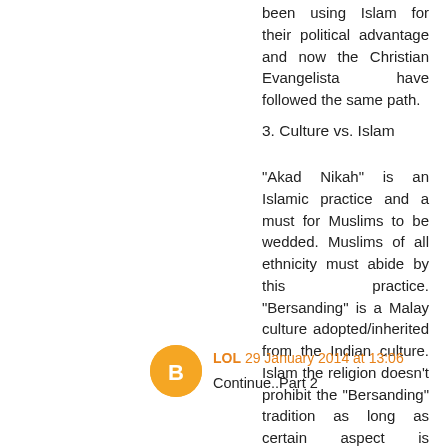been using Islam for their political advantage and now the Christian Evangelista have followed the same path.
3. Culture vs. Islam
"Akad Nikah" is an Islamic practice and a must for Muslims to be wedded. Muslims of all ethnicity must abide by this practice. "Bersanding" is a Malay culture adopted/inherited from the Indian culture. Islam the religion doesn't prohibit the "Bersanding" tradition as long as certain aspect is followed such as for the bride to dress properly (tutup aurat). While Muslim Malay can make do without the "Bersading" ceremony, they can't forgo the "Akad Nikah" practice.
LOL 29 January 2014 at 13:06
Continue..Part 2